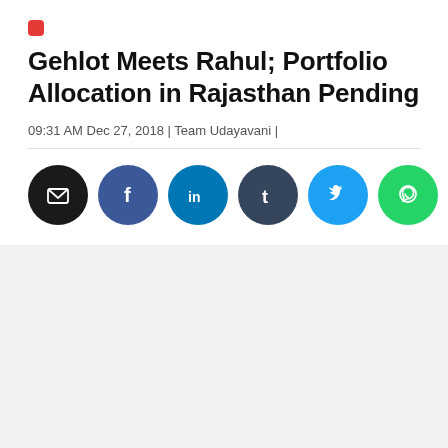Gehlot Meets Rahul; Portfolio Allocation in Rajasthan Pending
09:31 AM Dec 27, 2018 | Team Udayavani |
[Figure (infographic): Row of social media share buttons: Email (black), Facebook (blue), LinkedIn (blue), Tumblr (dark slate), Twitter (light blue), WhatsApp (green), Koo (yellow)]